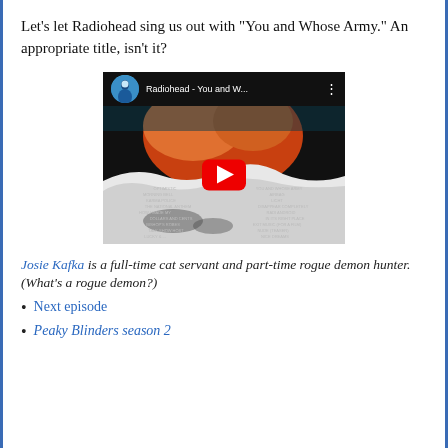Let’s let Radiohead sing us out with “You and Whose Army.” An appropriate title, isn’t it?
[Figure (screenshot): YouTube video embed showing Radiohead - You and W... with album art and play button]
Josie Kafka is a full-time cat servant and part-time rogue demon hunter. (What’s a rogue demon?)
Next episode
Peaky Blinders season 2